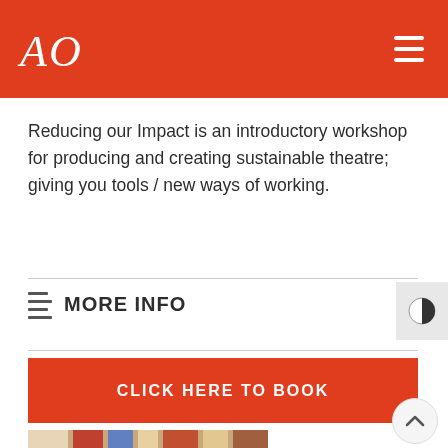AO
Reducing our Impact is an introductory workshop for producing and creating sustainable theatre; giving you tools / new ways of working.
MORE INFO
CLICK HERE TO BOOK
[Figure (photo): Partial view of a photo showing bookshelves with colorful books and possibly a person]